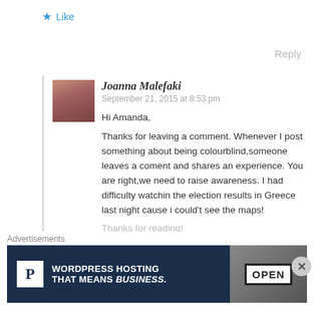★ Like
Reply
Joanna Malefaki
September 21, 2015 at 8:53 pm
Hi Amanda,
Thanks for leaving a comment. Whenever I post something about being colourblind,someone leaves a coment and shares an experience. You are right,we need to raise awareness. I had difficulty watchin the election results in Greece last night cause i could't see the maps!
Thanks for reading!
Advertisements
[Figure (screenshot): WordPress Hosting advertisement banner with P logo and OPEN sign image]